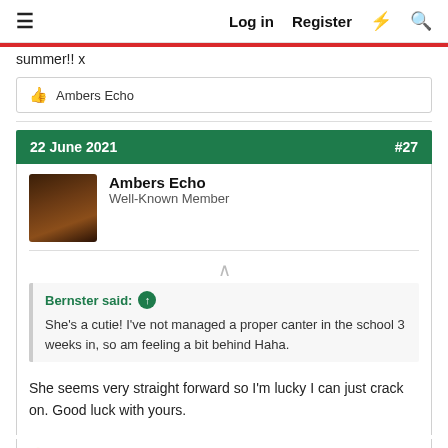≡  Log in  Register  ⚡  🔍
summer!! x
👍 Ambers Echo
22 June 2021  #27
Ambers Echo
Well-Known Member
Bernster said: ↑
She's a cutie! I've not managed a proper canter in the school 3 weeks in, so am feeling a bit behind Haha.
She seems very straight forward so I'm lucky I can just crack on. Good luck with yours.
👍 SatansLittleHelper, Bernster and tda